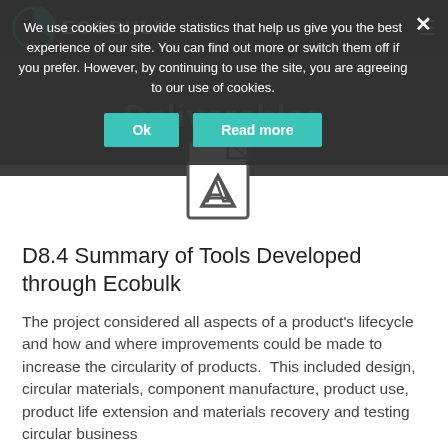ECOBULK — Deliverables
[Figure (other): PDF file icon — a document page with a folded corner and an Acrobat-style 'A' symbol in the center]
D8.4 Summary of Tools Developed through Ecobulk
The project considered all aspects of a product's lifecycle and how and where improvements could be made to increase the circularity of products.  This included design, circular materials, component manufacture, product use, product life extension and materials recovery and testing circular business